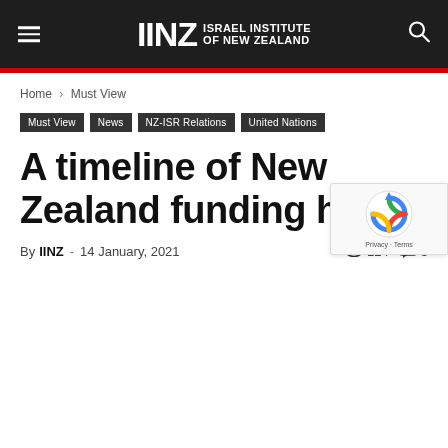IINZ Israel Institute of New Zealand
Home › Must View
Must View
News
NZ-ISR Relations
United Nations
A timeline of New Zealand funding hate
By IINZ - 14 January, 2021  👁 124  💬 5